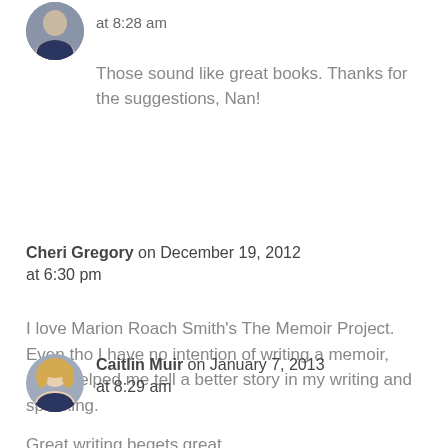at 8:28 am
Those sound like great books. Thanks for the suggestions, Nan!
Cheri Gregory on December 19, 2012 at 6:30 pm
I love Marion Roach Smith's The Memoir Project. Even tho I have no intention of writing a memoir, she's helped me tell a better story in my writing and speaking.
[Figure (photo): Avatar photo of Caitlin Muir, a woman with blonde hair]
Caitlin Muir on January 7, 2013 at 8:29 am
Great writing begets great